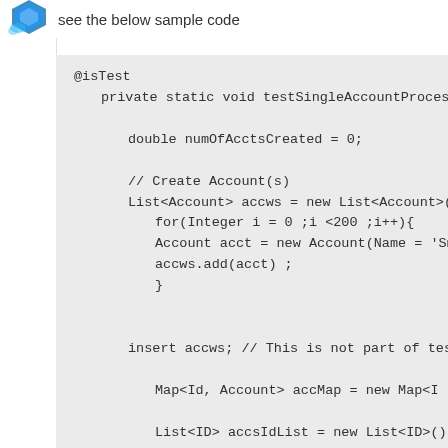see the below sample code
[Figure (screenshot): Avatar/profile icon with blue hexagonal pattern]
@isTest
    private static void testSingleAccountProcessor()

        double numOfAcctsCreated = 0;

        // Create Account(s)
        List<Account> accws = new List<Account>();
            for(Integer i = 0 ;i <200 ;i++){
            Account acct = new Account(Name = 'Sm
            accws.add(acct) ;
            }


        insert accws; // This is not part of test

            Map<Id, Account> accMap = new Map<I

            List<ID> accsIdList = new List<ID>();
            accsIdList.addAll(accMap.keySet());